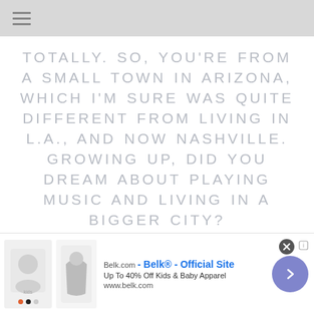TOTALLY. SO, YOU'RE FROM A SMALL TOWN IN ARIZONA, WHICH I'M SURE WAS QUITE DIFFERENT FROM LIVING IN L.A., AND NOW NASHVILLE. GROWING UP, DID YOU DREAM ABOUT PLAYING MUSIC AND LIVING IN A BIGGER CITY?
[Figure (screenshot): Advertisement banner for Belk.com showing kids clothing images, text 'Belk® - Official Site', 'Up To 40% Off Kids & Baby Apparel', 'www.belk.com', with a close button and a purple arrow navigation button.]